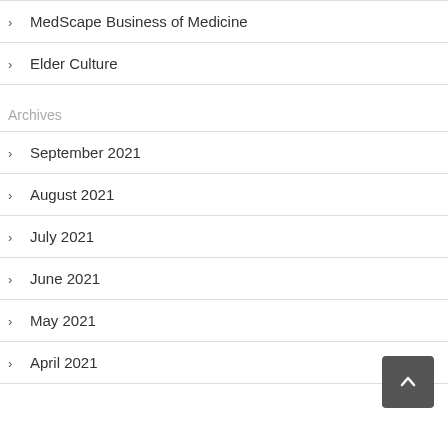MedScape Business of Medicine
Elder Culture
Archives
September 2021
August 2021
July 2021
June 2021
May 2021
April 2021